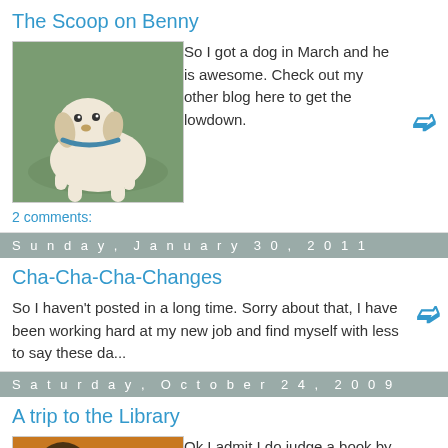The Scoop on Benny
[Figure (photo): Small white dog lying on a green surface with a collar]
So I got a dog in March and he is awesome. Check out my other blog here to get the lowdown.
2 comments:
Sunday, January 30, 2011
Cha-Cha-Cha-Changes
So I haven't posted in a long time. Sorry about that, I have been working hard at my new job and find myself with less to say these da...
Saturday, October 24, 2009
A trip to the Library
[Figure (photo): Book cover with dark artistic painting and text 'DARYL GREGORY' and 'WE ARE ALL COMPLETELY FINE']
Ok I admit I do judge a book by its cover. For example whether I pick up a book by an unfamiliar author is determined by two things (this ...